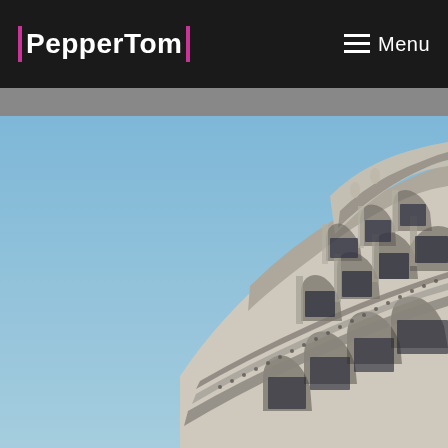| PepperTom |  Menu
[Figure (photo): Looking up at the ornate curved top facade of a classical multi-story building with arched windows and decorative stonework against a blue sky. The building curves dramatically from right to upper-left, showing detailed Beaux-Arts architectural elements including cornices, columns, arched windows, and sculptural ornamentation.]